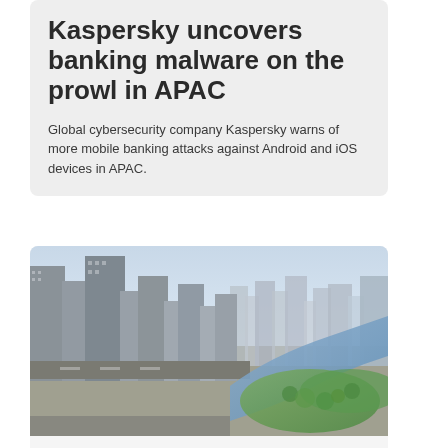Kaspersky uncovers banking malware on the prowl in APAC
Global cybersecurity company Kaspersky warns of more mobile banking attacks against Android and iOS devices in APAC.
[Figure (photo): Aerial photograph of Melbourne city skyline with skyscrapers and a river with parklands]
MELBOURNE
Equinix invests